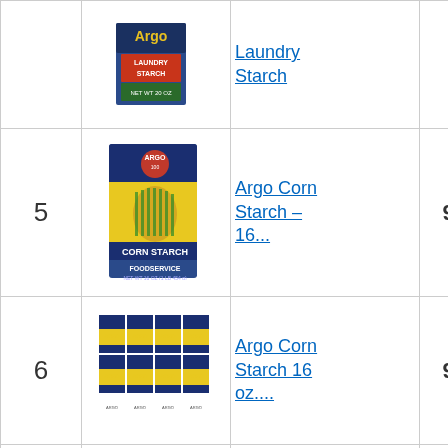| # | Image | Product | Score | Buy |
| --- | --- | --- | --- | --- |
|  | (Argo Laundry Starch image) | Laundry
Starch |  | Buy on Amaz... |
| 5 | (Argo Corn Starch single image) | Argo Corn Starch – 16... | 9.40 | Buy o... Amaz... |
| 6 | (Argo Corn Starch multi-pack image) | Argo Corn Starch 16 oz.... | 9.40 | Buy o... Amaz... |
| 7 | (Argo Gloss Laundry image) | Argo Gloss Laundry Starch S... | 9.20 | Buy o... Amaz... |